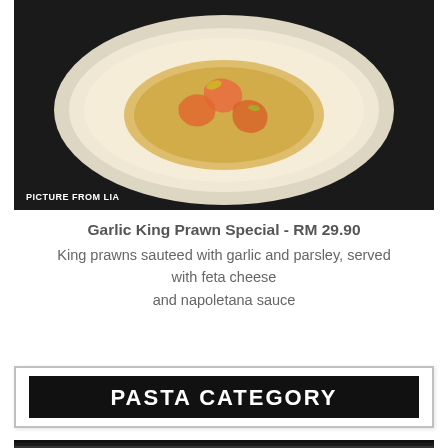[Figure (photo): Photo of Garlic King Prawn Special dish on a white plate with golden butter sauce, prawns and garnish. Text overlay reads 'PICTURE FROM LIA'.]
Garlic King Prawn Special - RM 29.90
King prawns sauteed with garlic and parsley, served with feta cheese
and napoletana sauce
[Figure (infographic): Category banner with black background and white bold text reading 'PASTA CATEGORY' with arrow chevron decorations on each side, bordered by a light gray rectangle.]
[Figure (photo): Photo of pasta dish (thin noodles/angel hair pasta) with vegetables including carrots and green beans on a white plate against a dark background.]